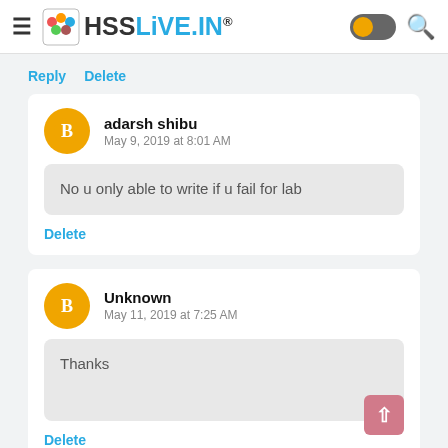HSSLiVE.IN
Reply  Delete
adarsh shibu
May 9, 2019 at 8:01 AM
No u only able to write if u fail for lab
Delete
Unknown
May 11, 2019 at 7:25 AM
Thanks
Delete